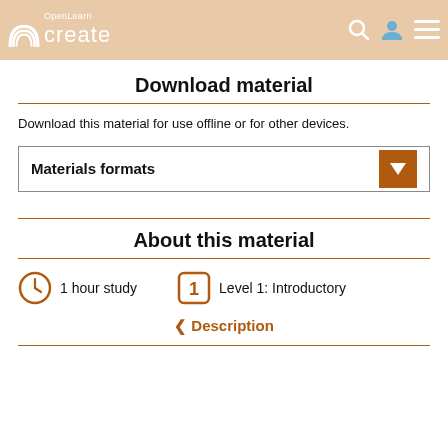OpenLearn create
Download material
Download this material for use offline or for other devices.
Materials formats
About this material
1 hour study
Level 1: Introductory
< Description